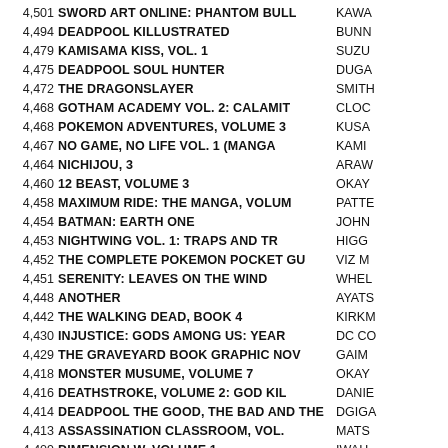| Rank/Sales | Title | Author/Publisher |
| --- | --- | --- |
| 4,501 | SWORD ART ONLINE: PHANTOM BULL | KAWA |
| 4,494 | DEADPOOL KILLUSTRATED | BUNN |
| 4,479 | KAMISAMA KISS, VOL. 1 | SUZU |
| 4,475 | DEADPOOL SOUL HUNTER | DUGA |
| 4,472 | THE DRAGONSLAYER | SMITH |
| 4,468 | GOTHAM ACADEMY VOL. 2: CALAMIT | CLOC |
| 4,468 | POKEMON ADVENTURES, VOLUME 3 | KUSA |
| 4,467 | NO GAME, NO LIFE VOL. 1 (MANGA | KAMI |
| 4,464 | NICHIJOU, 3 | ARAW |
| 4,460 | 12 BEAST, VOLUME 3 | OKAY |
| 4,458 | MAXIMUM RIDE: THE MANGA, VOLUM | PATTE |
| 4,454 | BATMAN: EARTH ONE | JOHN |
| 4,453 | NIGHTWING VOL. 1: TRAPS AND TR | HIGG |
| 4,452 | THE COMPLETE POKEMON POCKET GU | VIZ M |
| 4,451 | SERENITY: LEAVES ON THE WIND | WHEL |
| 4,448 | ANOTHER | AYATS |
| 4,442 | THE WALKING DEAD, BOOK 4 | KIRKM |
| 4,430 | INJUSTICE: GODS AMONG US: YEAR | DC CO |
| 4,429 | THE GRAVEYARD BOOK GRAPHIC NOV | GAIM |
| 4,418 | MONSTER MUSUME, VOLUME 7 | OKAY |
| 4,416 | DEATHSTROKE, VOLUME 2: GOD KIL | DANIE |
| 4,414 | DEADPOOL THE GOOD, THE BAD AND THE | DGIGA |
| 4,413 | ASSASSINATION CLASSROOM, VOL. | MATS |
| 4,409 | DIMENSION W, VOLUME 1 | IWAH |